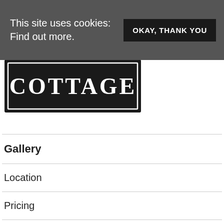This site uses cookies: Find out more.
OKAY, THANK YOU
[Figure (logo): Logo showing text COTTAGE in a rectangular bordered sign with decorative serif font on dark background]
Gallery
Location
Pricing
Testimonials
Contact Us